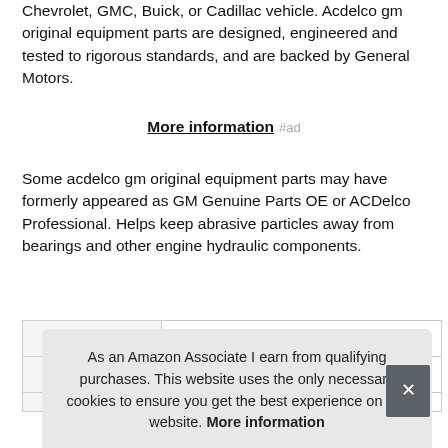Chevrolet, GMC, Buick, or Cadillac vehicle. Acdelco gm original equipment parts are designed, engineered and tested to rigorous standards, and are backed by General Motors.
More information #ad
Some acdelco gm original equipment parts may have formerly appeared as GM Genuine Parts OE or ACDelco Professional. Helps keep abrasive particles away from bearings and other engine hydraulic components.
|  |  |
| --- | --- |
| Brand | ACDelco #ad |
| Ma... | AC... |
As an Amazon Associate I earn from qualifying purchases. This website uses the only necessary cookies to ensure you get the best experience on our website. More information